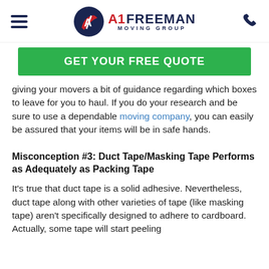[Figure (logo): A1 Freeman Moving Group logo with circular emblem and company name]
GET YOUR FREE QUOTE
giving your movers a bit of guidance regarding which boxes to leave for you to haul. If you do your research and be sure to use a dependable moving company, you can easily be assured that your items will be in safe hands.
Misconception #3: Duct Tape/Masking Tape Performs as Adequately as Packing Tape
It's true that duct tape is a solid adhesive. Nevertheless, duct tape along with other varieties of tape (like masking tape) aren't specifically designed to adhere to cardboard. Actually, some tape will start peeling